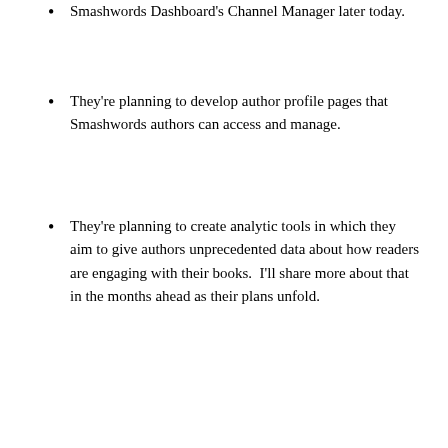Smashwords Dashboard's Channel Manager later today.
They're planning to develop author profile pages that Smashwords authors can access and manage.
They're planning to create analytic tools in which they aim to give authors unprecedented data about how readers are engaging with their books.  I'll share more about that in the months ahead as their plans unfold.
Please join me in welcoming Scribd as the latest member of the Smashwords distribution network.  I'm looking forward to working with Scribd to grow our authors' audience and sales in the months and years ahead.  I'll send out an author/publisher alert about the deal later today.
Check out the Scribd blog which quotes Smashwords author Quinn Loftis.